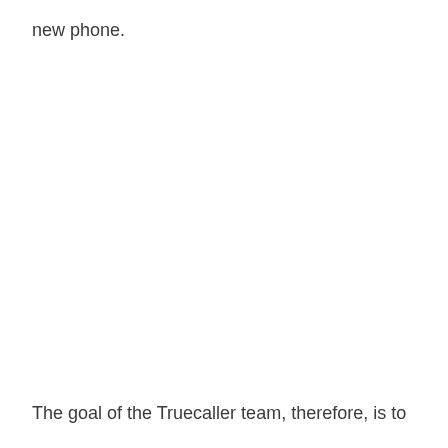new phone.
The goal of the Truecaller team, therefore, is to